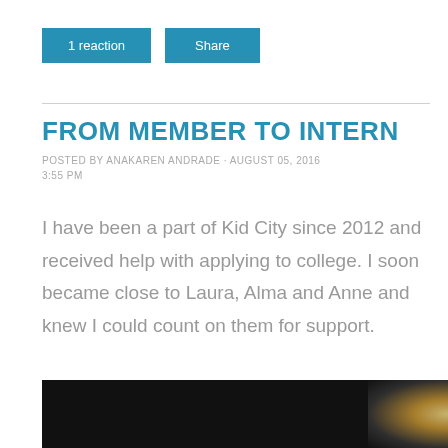1 reaction
Share
FROM MEMBER TO INTERN
POSTED BY ANAKAREN ANDRADE · AUGUST 05, 2016 3:55 PM
I have been a part of Kid City since 2012 and received help with applying to college. I soon became close to Laura, Alma and Anne and knew I could count on them for support.
[Figure (photo): Dark photograph with bright light source visible at right edge]